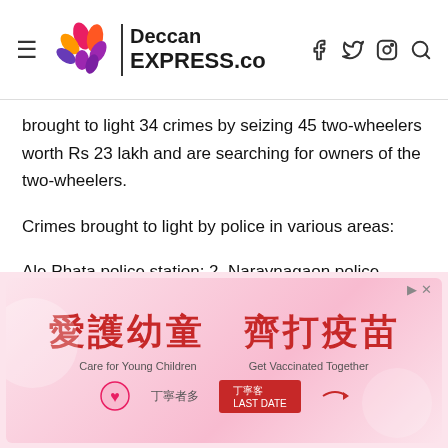Deccan EXPRESS.co
brought to light 34 crimes by seizing 45 two-wheelers worth Rs 23 lakh and are searching for owners of the two-wheelers.
Crimes brought to light by police in various areas:
Ale Phata police station: 2, Naraynagaon police station: 1, Otur police station: 1, Shirur police station: 4, Shikrapur police station: 1, Ranjangaon MIDC police station: 3, Chandan Nagar police station: 3, Bund Garden police station: 1, Faraskhana police station: 1, Yerawada police station: 1, (partially cut off)
[Figure (infographic): Advertisement banner with Chinese text '愛護幼童 齊打疫苗' meaning 'Care for Young Children Get Vaccinated Together' on a pink background with decorative elements and a red button]